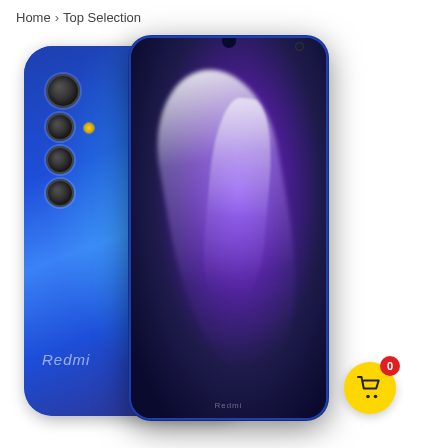Home > Top Selection
[Figure (photo): Xiaomi Redmi Note 8 smartphone shown from both the back (blue gradient color with quad camera module) and the front (dark screen with light streaks). A yellow shopping cart button with a red badge showing 0 is overlaid in the bottom right corner.]